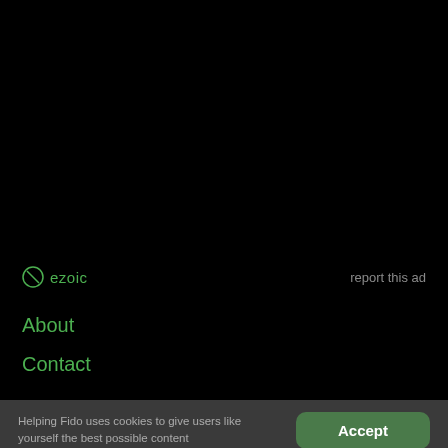[Figure (logo): Ezoic logo with circular icon and 'ezoic' text in green, alongside 'report this ad' link on black background]
About
Contact
Helping Fido uses cookies to give users like yourself the best possible content
Accept